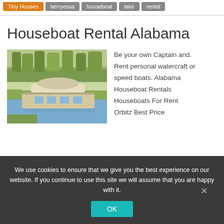Tiny Houses | berryessa | houseboat | lake | rental
Houseboat Rental Alabama
[Figure (photo): A houseboat moored at a calm lake shoreline with trees in the background, photographed in warm afternoon light.]
Be your own Captain and. Rent personal watercraft or speed boats. Alabama Houseboat Rentals Houseboats For Rent Orbitz Best Price
We use cookies to ensure that we give you the best experience on our website. If you continue to use this site we will assume that you are happy with it.